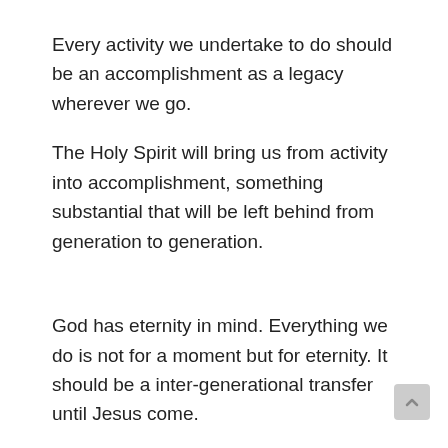Every activity we undertake to do should be an accomplishment as a legacy wherever we go.
The Holy Spirit will bring us from activity into accomplishment, something substantial that will be left behind from generation to generation.
God has eternity in mind. Everything we do is not for a moment but for eternity. It should be a inter-generational transfer until Jesus come.
We want to leave behind not just an inheritance but a legacy. It is said you can either give your child a fish or